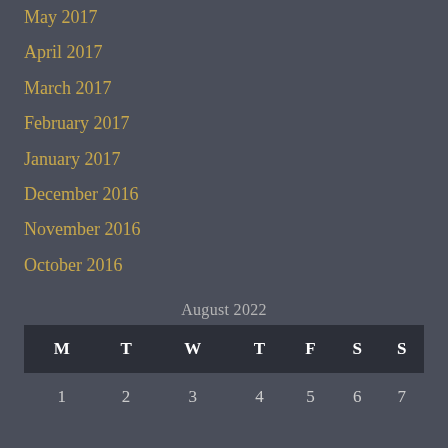May 2017
April 2017
March 2017
February 2017
January 2017
December 2016
November 2016
October 2016
| M | T | W | T | F | S | S |
| --- | --- | --- | --- | --- | --- | --- |
| 1 | 2 | 3 | 4 | 5 | 6 | 7 |